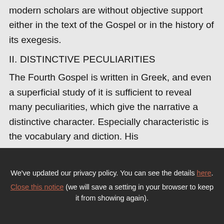modern scholars are without objective support either in the text of the Gospel or in the history of its exegesis.
II. DISTINCTIVE PECULIARITIES
The Fourth Gospel is written in Greek, and even a superficial study of it is sufficient to reveal many peculiarities, which give the narrative a distinctive character. Especially characteristic is the vocabulary and diction. His
We've updated our privacy policy. You can see the details here. Close this notice (we will save a setting in your browser to keep it from showing again).